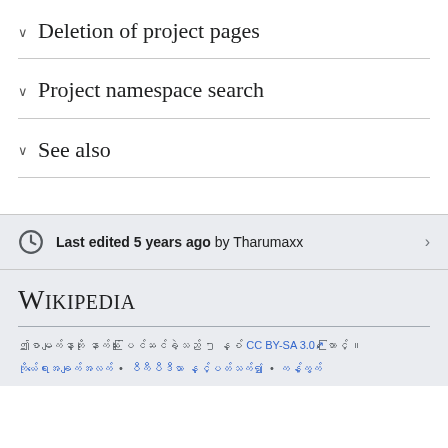∨  Deletion of project pages
∨  Project namespace search
∨  See also
Last edited 5 years ago by Tharumaxx
Wikipedia
ဤစာမျက်နှာကို နောက်ဆုံး ပြင်ဆင်ခဲ့သည် ၅ နှစ် CC BY-SA 3.0 ကြောင့် ။
ကိုယ်ရေးအချက်အလက် • ဝီကီပီဒီယာ နှင့်ပတ်သက်၍ • ကန့်ကွက်